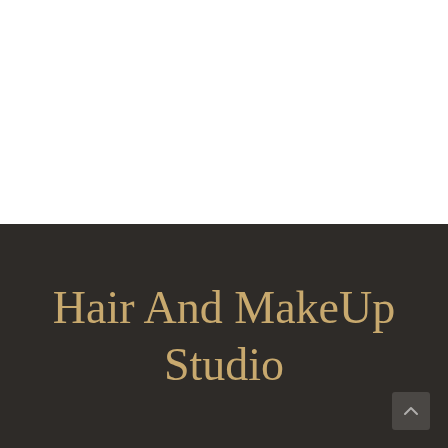[Figure (other): White blank upper half of a webpage]
Hair And MakeUp Studio